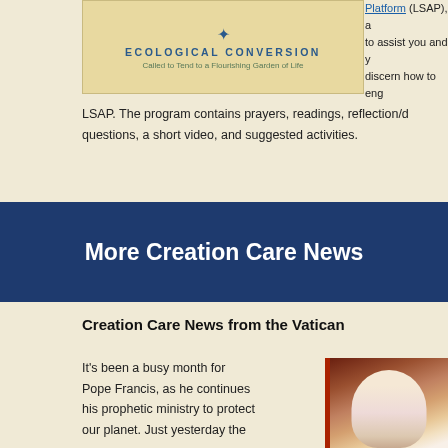[Figure (logo): Ecological Conversion logo with text 'Called to Tend to a Flourishing Garden of Life']
Platform (LSAP), a to assist you and y discern how to eng LSAP. The program contains prayers, readings, reflection/d questions, a short video, and suggested activities.
More Creation Care News
Creation Care News from the Vatican
It's been a busy month for Pope Francis, as he continues his prophetic ministry to protect our planet. Just yesterday the
[Figure (photo): Photo of Pope Francis]